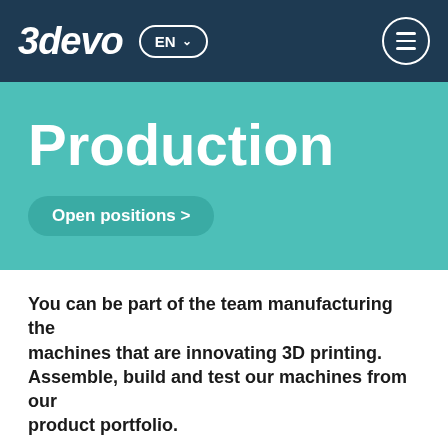3devo EN ☰
Production
Open positions >
You can be part of the team manufacturing the machines that are innovating 3D printing. Assemble, build and test our machines from our product portfolio.